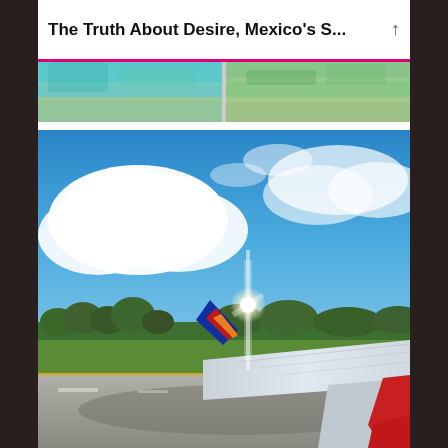The Truth About Desire, Mexico's S...
[Figure (photo): Two aerial/landscape photos shown as thumbnail strip at top]
[Figure (photo): View from airplane window seat of Southwest Airlines aircraft wing on runway tarmac, blue sky with white clouds, green treeline on horizon, red winglet visible, bright sun glare on tail fin]